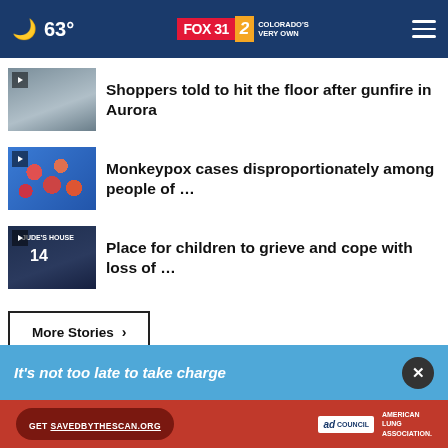63° FOX 31 2 COLORADO'S VERY OWN
Shoppers told to hit the floor after gunfire in Aurora
Monkeypox cases disproportionately among people of …
Place for children to grieve and cope with loss of …
More Stories ›
[Figure (screenshot): Advertisement banner: It's not too late to take charge with close button, and Get SAVEDBYTHESCAN.ORG with Ad Council and American Lung Association logos]